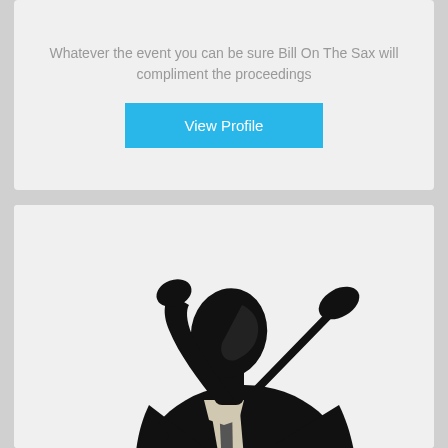Whatever the event you can be sure Bill On The Sax will compliment the proceedings
View Profile
[Figure (photo): Silhouette of a man in a suit holding a microphone on a stand, facing down, on white background]
SHAMIE U SWING